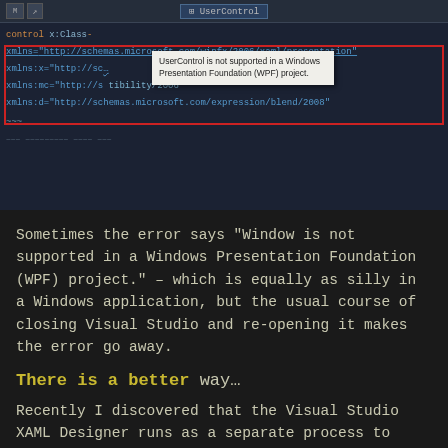[Figure (screenshot): Visual Studio XAML editor showing code with a red rectangle highlight and tooltip reading 'UserControl is not supported in a Windows Presentation Foundation (WPF) project.']
Sometimes the error says “Window is not supported in a Windows Presentation Foundation (WPF) project.” – which is equally as silly in a Windows application, but the usual course of closing Visual Studio and re-opening it makes the error go away.
There is a better way…
Recently I discovered that the Visual Studio XAML Designer runs as a separate process to Visual Studio 2019 (Devenv.exe). This is likely an attempt by